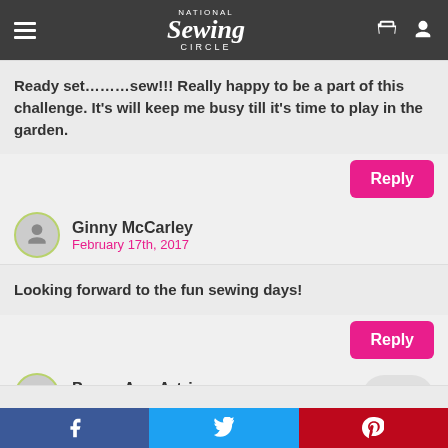National Sewing Circle
Ready set………sew!!! Really happy to be a part of this challenge. It's will keep me busy till it's time to play in the garden.
Reply
Ginny McCarley
February 17th, 2017
Looking forward to the fun sewing days!
Reply
Peggy Ann Artripe
February 17th, 2017
f  Twitter  p